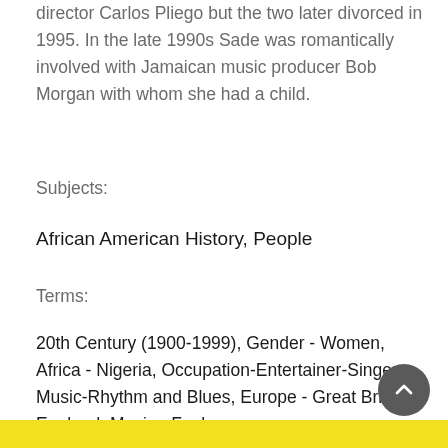director Carlos Pliego but the two later divorced in 1995. In the late 1990s Sade was romantically involved with Jamaican music producer Bob Morgan with whom she had a child.
Subjects:
African American History, People
Terms:
20th Century (1900-1999), Gender - Women, Africa - Nigeria, Occupation-Entertainer-Singer, Music-Rhythm and Blues, Europe - Great Britain - England, Music - Funk